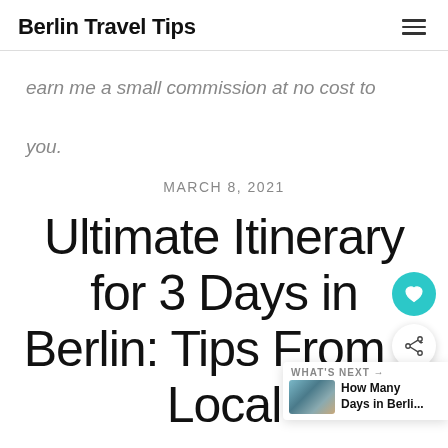Berlin Travel Tips
earn me a small commission at no cost to you.
MARCH 8, 2021
Ultimate Itinerary for 3 Days in Berlin: Tips From a Local
What to Do